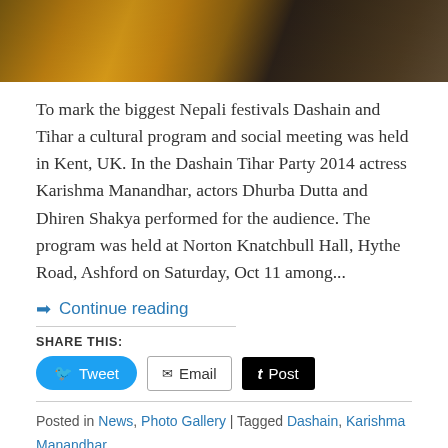[Figure (photo): Partial photo of a woman in traditional Nepali festival attire with colorful accessories, cropped at the top]
To mark the biggest Nepali festivals Dashain and Tihar a cultural program and social meeting was held in Kent, UK. In the Dashain Tihar Party 2014 actress Karishma Manandhar, actors Dhurba Dutta and Dhiren Shakya performed for the audience. The program was held at Norton Knatchbull Hall, Hythe Road, Ashford on Saturday, Oct 11 among...
➡ Continue reading
SHARE THIS:
Tweet | Email | Post
Posted in News, Photo Gallery | Tagged Dashain, Karishma Manandhar, Tihar, UK | 2 Comments
Rejina Upreti broken up with Suraj?
Posted on February 9, 2013 by Anand Nepal